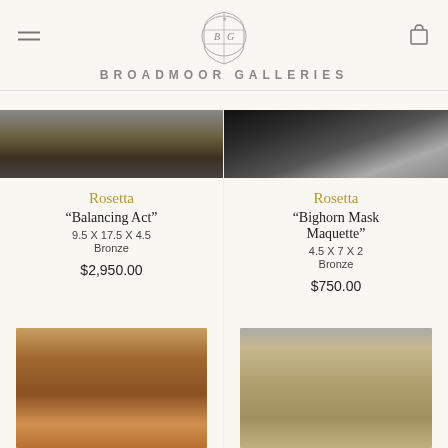Broadmoor Galleries
[Figure (photo): Top portion of sculpture 'Balancing Act' by Rosetta — bronze piece on dark base, warm lighting]
[Figure (photo): Top portion of sculpture 'Bighorn Mask Maquette' by Rosetta — bronze form against dark background]
Rosetta
"Balancing Act"
9.5 X 17.5 X 4.5
Bronze
$2,950.00
Rosetta
"Bighorn Mask Maquette"
4.5 X 7 X 2
Bronze
$750.00
[Figure (photo): Bronze bull head sculpture with warm brown patina]
[Figure (photo): Light-colored ceramic or clay figurative sculpture against neutral background]